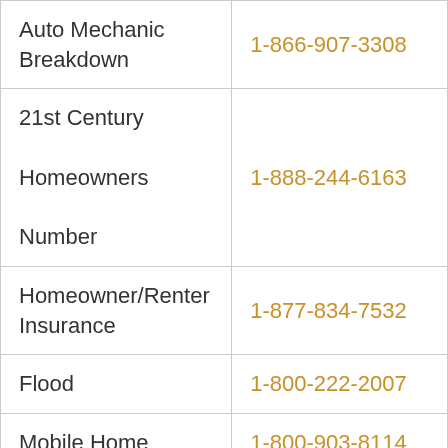| Service | Phone Number |
| --- | --- |
| Auto Mechanic Breakdown | 1-866-907-3308 |
| 21st Century Homeowners Number | 1-888-244-6163 |
| Homeowner/Renter Insurance | 1-877-834-7532 |
| Flood | 1-800-222-2007 |
| Mobile Home | 1-800-903-8114 |
| 21st Century insurance |  |